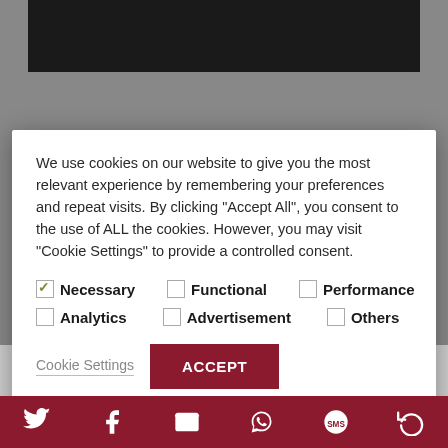[Figure (screenshot): Dark background image at top of web page]
We use cookies on our website to give you the most relevant experience by remembering your preferences and repeat visits. By clicking "Accept All", you consent to the use of ALL the cookies. However, you may visit "Cookie Settings" to provide a controlled consent.
☑ Necessary   ☐ Functional   ☐ Performance
☐ Analytics   ☐ Advertisement   ☐ Others
Cookie Settings   ACCEPT
ACCEPT ALL
Business schools put ethics at the top of the...
[Figure (infographic): Social media sharing bar with Twitter, Facebook, Email, WhatsApp, SMS, and share icons on dark red background]